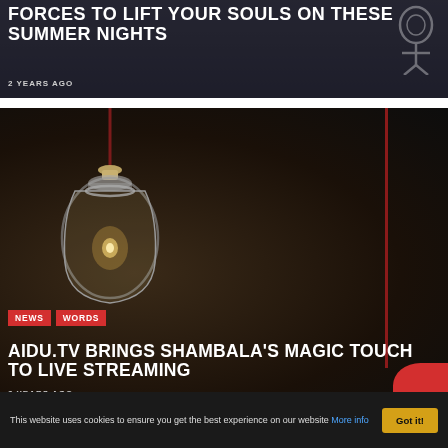[Figure (photo): Dark background photo of a person, partially cropped. White bold text overlaid: 'FORCES TO LIFT YOUR SOULS ON THESE SUMMER NIGHTS'. Date: '2 YEARS AGO'.]
FORCES TO LIFT YOUR SOULS ON THESE SUMMER NIGHTS
2 YEARS AGO
[Figure (photo): Dark moody photo with a hanging mason jar lamp with glowing filament bulb, and a red cord on the right side. Tags: NEWS, WORDS. Title: 'AIDU.TV BRINGS SHAMBALA'S MAGIC TOUCH TO LIVE STREAMING'. Date: '2 YEARS AGO'.]
NEWS   WORDS
AIDU.TV BRINGS SHAMBALA'S MAGIC TOUCH TO LIVE STREAMING
2 YEARS AGO
LIVE MUSIC INDUSTRY IS FIGHTING FOR ITS
This website uses cookies to ensure you get the best experience on our website More info  Got it!